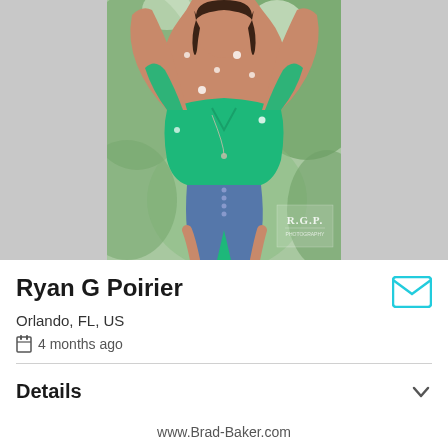[Figure (photo): Young woman wearing green top and denim shorts, arms raised, photographed outdoors with blurred green foliage background. R.G.P. watermark visible in lower right corner.]
Ryan G Poirier
Orlando, FL, US
4 months ago
Details
www.Brad-Baker.com